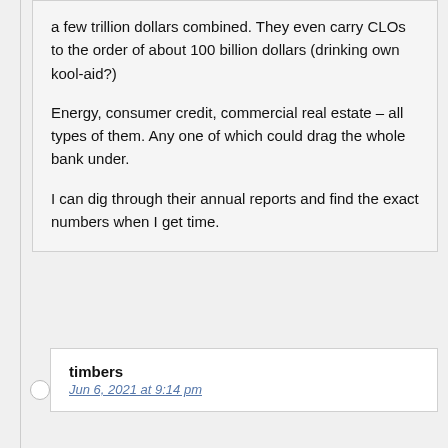a few trillion dollars combined. They even carry CLOs to the order of about 100 billion dollars (drinking own kool-aid?)
Energy, consumer credit, commercial real estate – all types of them. Any one of which could drag the whole bank under.
I can dig through their annual reports and find the exact numbers when I get time.
timbers
Jun 6, 2021 at 9:14 pm